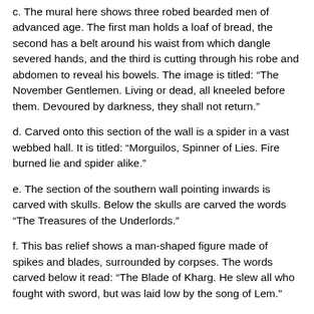c. The mural here shows three robed bearded men of advanced age.  The first man holds a loaf of bread, the second has a belt around his waist from which dangle severed hands, and the third is cutting through his robe and abdomen to reveal his bowels.  The image is titled:  "The November Gentlemen.  Living or dead, all kneeled before them. Devoured by darkness, they shall not return."
d. Carved onto this section of the wall is a spider in a vast webbed hall.  It is titled:  "Morguilos, Spinner of Lies. Fire burned lie and spider alike."
e. The section of the southern wall pointing inwards is carved with skulls.  Below the skulls are carved the words “The Treasures of the Underlords.”
f. This bas relief shows a man-shaped figure made of spikes and blades, surrounded by corpses.  The words carved below it read:  “The Blade of Kharg.  He slew all who fought with sword, but was laid low by the song of Lem.”